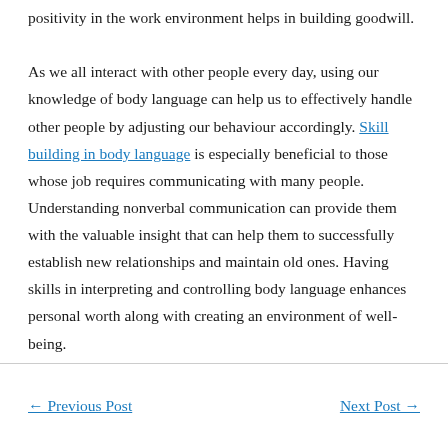positivity in the work environment helps in building goodwill. As we all interact with other people every day, using our knowledge of body language can help us to effectively handle other people by adjusting our behaviour accordingly. Skill building in body language is especially beneficial to those whose job requires communicating with many people. Understanding nonverbal communication can provide them with the valuable insight that can help them to successfully establish new relationships and maintain old ones. Having skills in interpreting and controlling body language enhances personal worth along with creating an environment of well-being.
← Previous Post   Next Post →